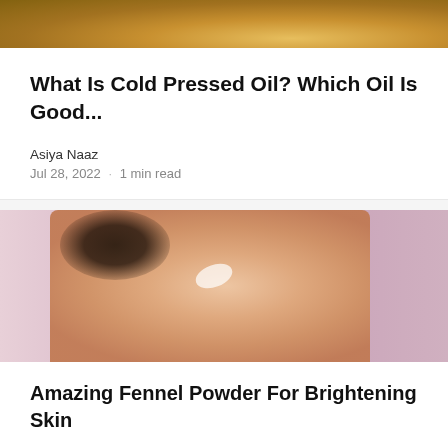[Figure (photo): Top portion of a glass bottle with amber/golden oil, cropped at top of page]
What Is Cold Pressed Oil? Which Oil Is Good...
Asiya Naaz
Jul 28, 2022 · 1 min read
[Figure (photo): Woman in profile view applying cream to her cheek, pink background, eyes closed, dark hair in bun]
Amazing Fennel Powder For Brightening Skin